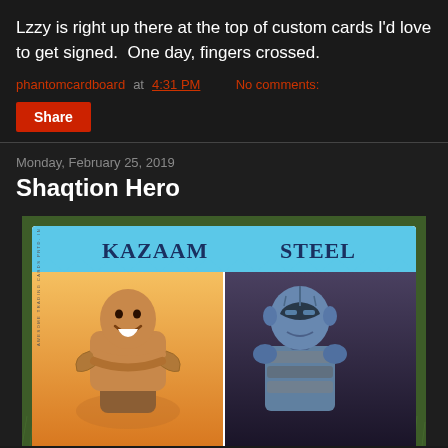Lzzy is right up there at the top of custom cards I'd love to get signed.  One day, fingers crossed.
phantomcardboard at 4:31 PM   No comments:
Share
Monday, February 25, 2019
Shaqtion Hero
[Figure (photo): Custom trading card showing two panels: left panel labeled KAZAAM with Shaq smiling arms crossed against orange/gold background, right panel labeled STEEL with a figure in silver armor/helmet against dark background. Card sits on grass background. Side text reads AWESOME TRADING CARDS PRTD. IN U.S.A.]